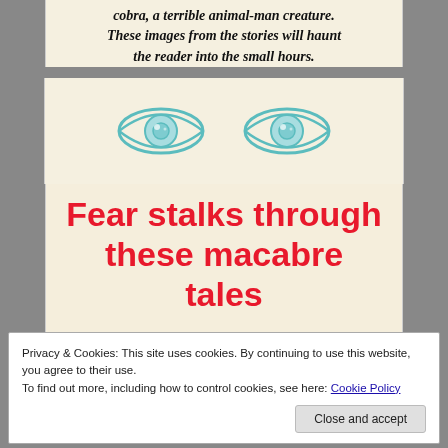cobra, a terrible animal-man creature. These images from the stories will haunt the reader into the small hours.
[Figure (illustration): Two illustrated teal/turquoise eyes side by side on a yellowed book cover background]
Fear stalks through these macabre tales
Privacy & Cookies: This site uses cookies. By continuing to use this website, you agree to their use.
To find out more, including how to control cookies, see here: Cookie Policy
Close and accept